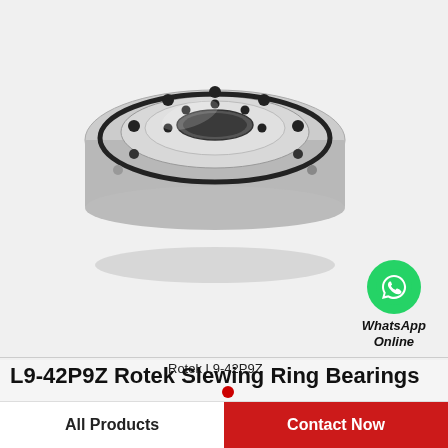[Figure (photo): Rotek L9-42P9Z slewing ring bearing — a circular stainless steel bearing with bolt holes on the flange, viewed from a perspective angle above. The bearing has an inner ring with a central bore and an outer ring, with multiple black bolt holes visible on the top face. A thick cylindrical side profile is visible.]
Rotek L9-42P9Z
[Figure (logo): WhatsApp green circle logo icon with white phone handset, labeled 'WhatsApp Online' in bold italic text below.]
L9-42P9Z Rotek Slewing Ring Bearings
All Products
Contact Now